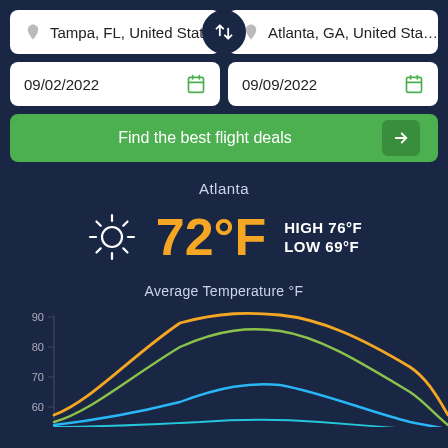Tampa, FL, United States
Atlanta, GA, United States
09/02/2022
09/09/2022
Find the best flight deals
Atlanta
72°F
HIGH 76°F LOW 69°F
Average Temperature °F
[Figure (continuous-plot): Line chart showing average temperature in °F across months for Atlanta. Y-axis shows 60, 70, 80, 90. Multiple colored lines (blue, green, orange) showing seasonal temperature curves peaking in summer months and dipping at edges.]